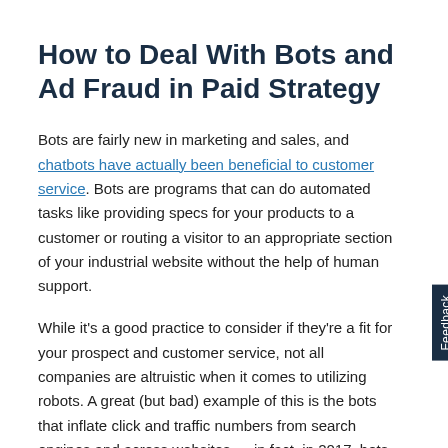How to Deal With Bots and Ad Fraud in Paid Strategy
Bots are fairly new in marketing and sales, and chatbots have actually been beneficial to customer service. Bots are programs that can do automated tasks like providing specs for your products to a customer or routing a visitor to an appropriate section of your industrial website without the help of human support.
While it's a good practice to consider if they're a fit for your prospect and customer service, not all companies are altruistic when it comes to utilizing robots. A great (but bad) example of this is the bots that inflate click and traffic numbers from search engines and across websites — in fact, in 2017, bots cost companies nearly $17 billion in fake